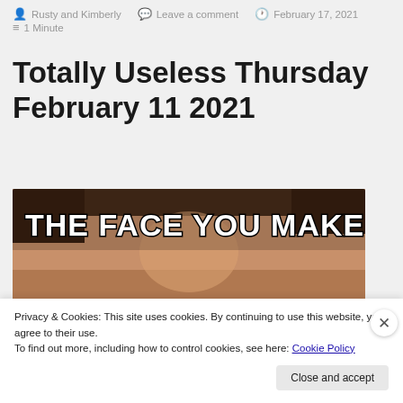Rusty and Kimberly   Leave a comment   February 17, 2021   1 Minute
Totally Useless Thursday February 11 2021
[Figure (photo): Meme image showing the top of a person's face with text overlay reading 'THE FACE YOU MAKE WHEN' in bold white capital letters with black outline]
Privacy & Cookies: This site uses cookies. By continuing to use this website, you agree to their use.
To find out more, including how to control cookies, see here: Cookie Policy
Close and accept